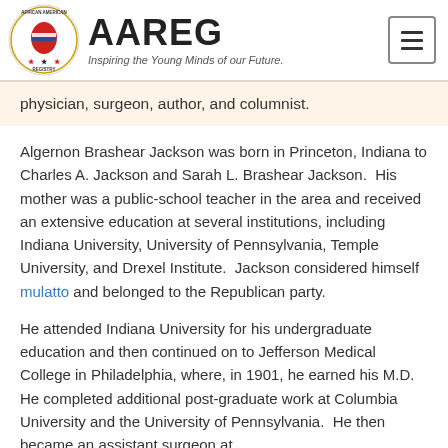[Figure (logo): African American Registry (AAREG) logo with circular emblem showing Africa continent in red, white and blue colors with stars, surrounded by text 'AFRICAN AMERICAN REGISTRY'. Beside it the text 'AAREG' in large bold font and tagline 'Inspiring the Young Minds of our Future.']
physician, surgeon, author, and columnist.
Algernon Brashear Jackson was born in Princeton, Indiana to Charles A. Jackson and Sarah L. Brashear Jackson.  His mother was a public-school teacher in the area and received an extensive education at several institutions, including Indiana University, University of Pennsylvania, Temple University, and Drexel Institute.  Jackson considered himself mulatto and belonged to the Republican party.
He attended Indiana University for his undergraduate education and then continued on to Jefferson Medical College in Philadelphia, where, in 1901, he earned his M.D.  He completed additional post-graduate work at Columbia University and the University of Pennsylvania.  He then became an assistant surgeon at